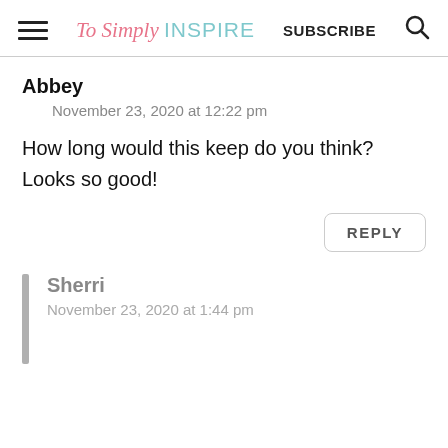To Simply INSPIRE  SUBSCRIBE
Abbey
November 23, 2020 at 12:22 pm
How long would this keep do you think? Looks so good!
REPLY
Sherri
November 23, 2020 at 1:44 pm